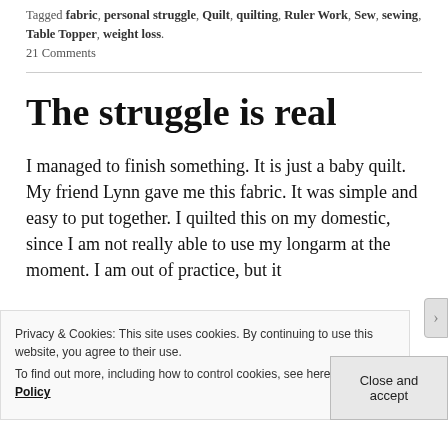Tagged fabric, personal struggle, Quilt, quilting, Ruler Work, Sew, sewing, Table Topper, weight loss. 21 Comments
The struggle is real
I managed to finish something. It is just a baby quilt. My friend Lynn gave me this fabric. It was simple and easy to put together. I quilted this on my domestic, since I am not really able to use my longarm at the moment. I am out of practice, but it
Privacy & Cookies: This site uses cookies. By continuing to use this website, you agree to their use. To find out more, including how to control cookies, see here: Cookie Policy
Close and accept